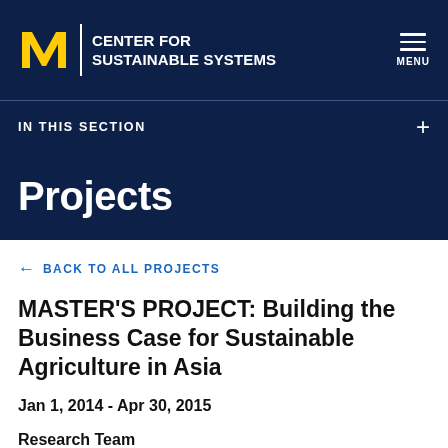CENTER FOR SUSTAINABLE SYSTEMS
IN THIS SECTION
Projects
← BACK TO ALL PROJECTS
MASTER'S PROJECT: Building the Business Case for Sustainable Agriculture in Asia
Jan 1, 2014 - Apr 30, 2015
Research Team